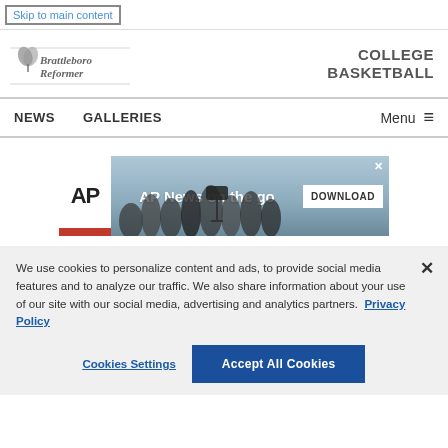Skip to main content
[Figure (logo): Brattleboro Reformer newspaper logo with decorative tree/leaf emblem]
COLLEGE BASKETBALL
NEWS   GALLERIES   Menu ≡
[Figure (screenshot): AP News on the go advertisement banner with DOWNLOAD button and close X]
We use cookies to personalize content and ads, to provide social media features and to analyze our traffic. We also share information about your use of our site with our social media, advertising and analytics partners. Privacy Policy
Cookies Settings
Accept All Cookies